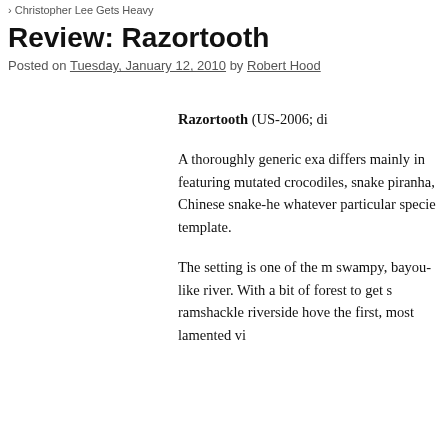Christopher Lee Gets Heavy
Review: Razortooth
Posted on Tuesday, January 12, 2010 by Robert Hood
Razortooth (US-2006; di

A thoroughly generic exa differs mainly in featuring mutated crocodiles, snake piranha, Chinese snake-he whatever particular specie template.

The setting is one of the m swampy, bayou-like river. With a bit of forest to get s ramshackle riverside hove the first, most lamented vi